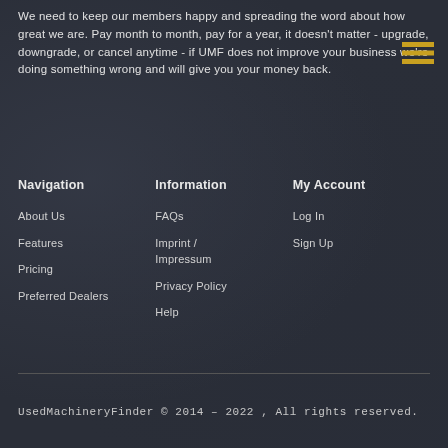We need to keep our members happy and spreading the word about how great we are. Pay month to month, pay for a year, it doesn't matter - upgrade, downgrade, or cancel anytime - if UMF does not improve your business we're doing something wrong and will give you your money back.
Navigation
About Us
Features
Pricing
Preferred Dealers
Information
FAQs
Imprint / Impressum
Privacy Policy
Help
My Account
Log In
Sign Up
UsedMachineryFinder © 2014 – 2022 , All rights reserved.